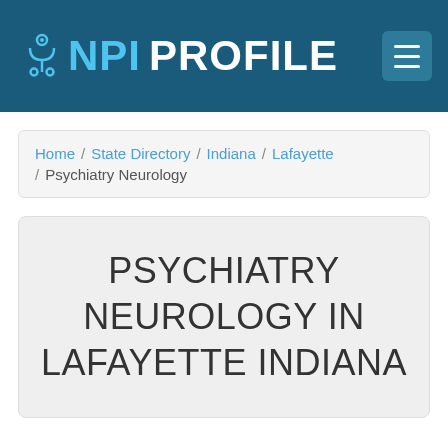NPI PROFILE
Home / State Directory / Indiana / Lafayette / Psychiatry Neurology
PSYCHIATRY NEUROLOGY IN LAFAYETTE INDIANA